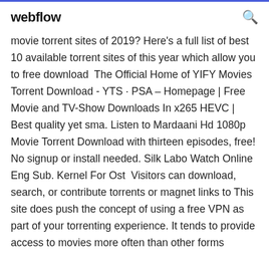webflow
movie torrent sites of 2019? Here's a full list of best 10 available torrent sites of this year which allow you to free download  The Official Home of YIFY Movies Torrent Download - YTS · PSA – Homepage | Free Movie and TV-Show Downloads In x265 HEVC | Best quality yet sma. Listen to Mardaani Hd 1080p Movie Torrent Download with thirteen episodes, free! No signup or install needed. Silk Labo Watch Online Eng Sub. Kernel For Ost  Visitors can download, search, or contribute torrents or magnet links to This site does push the concept of using a free VPN as part of your torrenting experience. It tends to provide access to movies more often than other forms